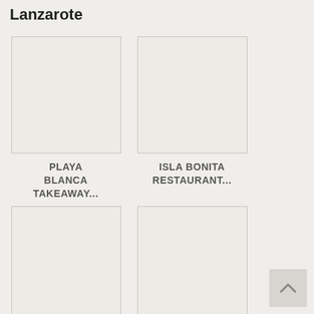Lanzarote
[Figure (photo): Placeholder image for Playa Blanca Takeaway]
PLAYA BLANCA TAKEAWAY...
[Figure (photo): Placeholder image for Isla Bonita Restaurant]
ISLA BONITA RESTAURANT...
[Figure (photo): Placeholder image for Kiss Cafe Tapas Bar]
KISS CAFE TAPAS BAR...
[Figure (photo): Placeholder image for Berrugo Cafe Bar]
BERRUGO CAFE BAR -...